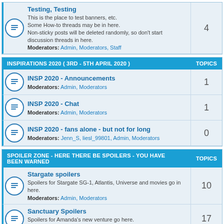Testing, Testing forum row
Testing, Testing
This is the place to test banners, etc.
Some How-to threads may be in here.
Non-sticky posts will be deleted randomly, so don't start discussion threads in here.
Moderators: Admin, Moderators, Staff
Topics: 4
INSPIRATIONS 2020 ( 3RD - 5TH APRIL 2020 ) | TOPICS
INSP 2020 - Announcements
Moderators: Admin, Moderators
Topics: 1
INSP 2020 - Chat
Moderators: Admin, Moderators
Topics: 1
INSP 2020 - fans alone - but not for long
Moderators: Jenn_S, liesl_99801, Admin, Moderators
Topics: 0
SPOILER ZONE - HERE THERE BE SPOILERS - YOU HAVE BEEN WARNED | TOPICS
Stargate spoilers
Spoilers for Stargate SG-1, Atlantis, Universe and movies go in here.
Moderators: Admin, Moderators
Topics: 10
Sanctuary Spoilers
Spoilers for Amanda's new venture go here.
Moderators: Admin, Moderators
Topics: 17
Other shows' spoilers
Spoilers for other shows go in here.
Moderators: Admin, Moderators
Topics: 1